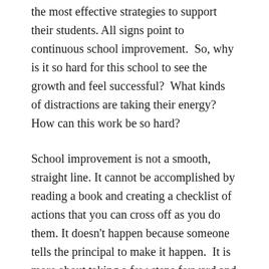the most effective strategies to support their students. All signs point to continuous school improvement.  So, why is it so hard for this school to see the growth and feel successful?  What kinds of distractions are taking their energy? How can this work be so hard?
School improvement is not a smooth, straight line. It cannot be accomplished by reading a book and creating a checklist of actions that you can cross off as you do them. It doesn't happen because someone tells the principal to make it happen.  It is more about taking a few steps forward and then finding that you are stuck, overwhelmed or just confused about what to do next. It sometimes looks like a jigsaw puzzle when you think